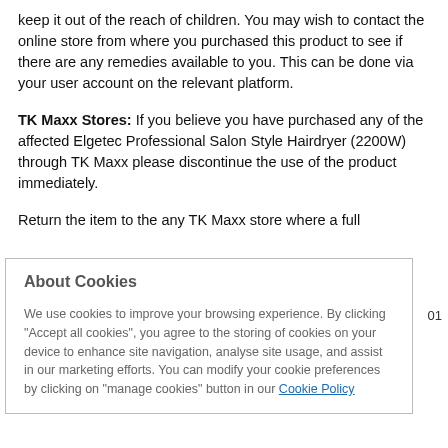keep it out of the reach of children. You may wish to contact the online store from where you purchased this product to see if there are any remedies available to you. This can be done via your user account on the relevant platform.
TK Maxx Stores: If you believe you have purchased any of the affected Elgetec Professional Salon Style Hairdryer (2200W) through TK Maxx please discontinue the use of the product immediately.
Return the item to the any TK Maxx store where a full
About Cookies
We use cookies to improve your browsing experience. By clicking "Accept all cookies", you agree to the storing of cookies on your device to enhance site navigation, analyse site usage, and assist in our marketing efforts. You can modify your cookie preferences by clicking on "manage cookies" button in our Cookie Policy